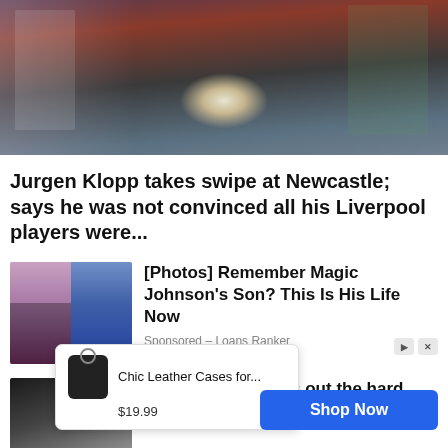[Figure (photo): Soccer/football match scene showing players in red Liverpool kits and coaches on sideline with a ball in play, crowd in background]
Jurgen Klopp takes swipe at Newcastle; says he was not convinced all his Liverpool players were...
[Figure (photo): Two people side by side: a woman with sunglasses on left, a man in blue polo shirt on right]
[Photos] Remember Magic Johnson's Son? This Is His Life Now
Sponsored - Loans Ranker
[Figure (photo): Person wearing dark helmet/hat, partially obscured by ad overlay]
Terrell Owens finds out the hard
[Figure (screenshot): Ad overlay popup showing Chic Leather Cases for... $19.99 with Shop Now button]